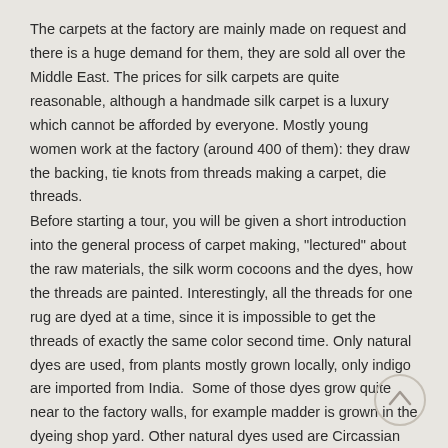The carpets at the factory are mainly made on request and there is a huge demand for them, they are sold all over the Middle East. The prices for silk carpets are quite reasonable, although a handmade silk carpet is a luxury which cannot be afforded by everyone. Mostly young women work at the factory (around 400 of them): they draw the backing, tie knots from threads making a carpet, die threads.
Before starting a tour, you will be given a short introduction into the general process of carpet making, "lectured" about the raw materials, the silk worm cocoons and the dyes, how the threads are painted. Interestingly, all the threads for one rug are dyed at a time, since it is impossible to get the threads of exactly the same color second time. Only natural dyes are used, from plants mostly grown locally, only indigo are imported from India. Some of those dyes grow quite near to the factory walls, for example madder is grown in the dyeing shop yard. Other natural dyes used are Circassian walnut shells, pomegranate peels, stems of the asparagus family plants.